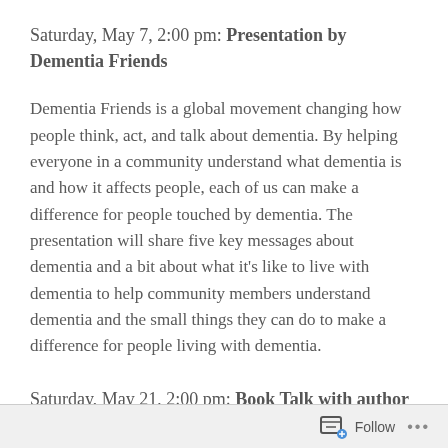Saturday, May 7, 2:00 pm: Presentation by Dementia Friends
Dementia Friends is a global movement changing how people think, act, and talk about dementia. By helping everyone in a community understand what dementia is and how it affects people, each of us can make a difference for people touched by dementia. The presentation will share five key messages about dementia and a bit about what it's like to live with dementia to help community members understand dementia and the small things they can do to make a difference for people living with dementia.
Saturday, May 21, 2:00 pm: Book Talk with author
Follow ...